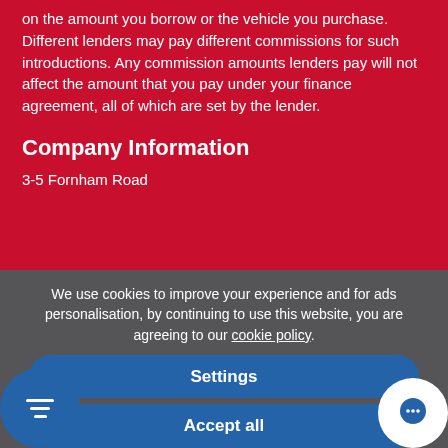on the amount you borrow or the vehicle you purchase. Different lenders may pay different commissions for such introductions. Any commission amounts lenders pay will not affect the amount that you pay under your finance agreement, all of which are set by the lender.
Company Information
3-5 Fornham Road
We use cookies to improve your experience and for ads personalisation, by continuing to use this website, you are agreeing to our cookie policy.